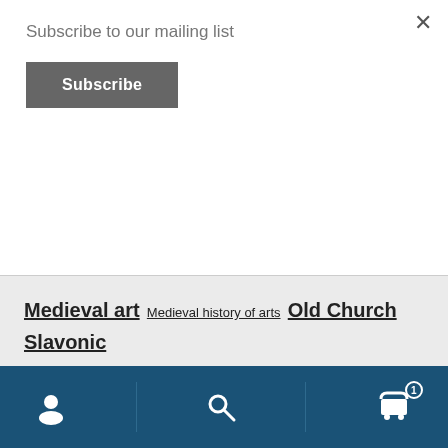Subscribe to our mailing list
Subscribe
Medieval art  Medieval history of arts  Old Church Slavonic  Ornaments  Orthodoxal  Paratype  Sans Serif Font  Serbian Cyrillic  Stefan Peev  stylistic alternates  Svet Simov  Type  Type design  Typefaces  Typography  Typotheque  Vassil Kateliev  Vector image
user icon | search icon | cart icon (1)